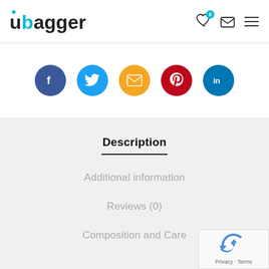ubagger
[Figure (other): Social sharing icons: Facebook (blue), Twitter (light blue), Email (orange), Pinterest (red), LinkedIn (dark blue)]
Description
Additional information
Reviews (0)
Composition and Care
[Figure (other): reCAPTCHA privacy widget in bottom right corner with Privacy - Terms text]